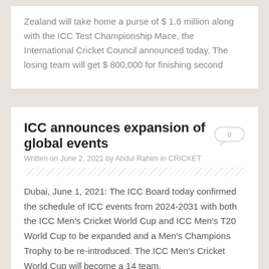Zealand will take home a purse of $ 1.6 million along with the ICC Test Championship Mace, the International Cricket Council announced today. The losing team will get $ 800,000 for finishing second
ICC announces expansion of global events
Written on June 2, 2021 by Abdul Rahim in CRICKET
Dubai, June 1, 2021: The ICC Board today confirmed the schedule of ICC events from 2024-2031 with both the ICC Men's Cricket World Cup and ICC Men's T20 World Cup to be expanded and a Men's Champions Trophy to be re-introduced. The ICC Men's Cricket World Cup will become a 14 team,